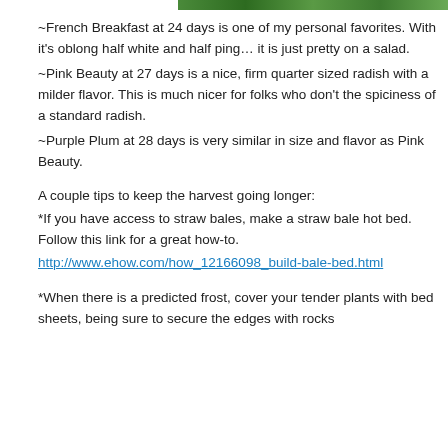[Figure (photo): Partial image at top of page showing green foliage/plants]
~French Breakfast at 24 days is one of my personal favorites. With it's oblong half white and half ping… it is just pretty on a salad.
~Pink Beauty at 27 days is a nice, firm quarter sized radish with a milder flavor. This is much nicer for folks who don't the spiciness of a standard radish.
~Purple Plum at 28 days is very similar in size and flavor as Pink Beauty.
A couple tips to keep the harvest going longer:
*If you have access to straw bales, make a straw bale hot bed. Follow this link for a great how-to.
http://www.ehow.com/how_12166098_build-bale-bed.html
*When there is a predicted frost, cover your tender plants with bed sheets, being sure to secure the edges with rocks